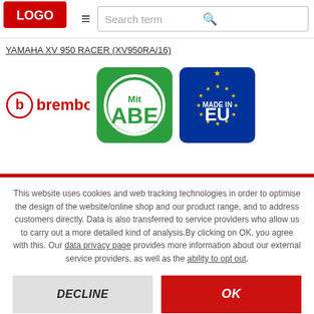[Figure (logo): Brembo logo (red circle with B and brembo text in red)]
Search term
YAMAHA XV 950 RACER (XV950RA/16)
[Figure (logo): Mit ABE green badge with white circle]
[Figure (logo): Made in EU blue badge with yellow stars]
This website uses cookies and web tracking technologies in order to optimise the design of the website/online shop and our product range, and to address customers directly. Data is also transferred to service providers who allow us to carry out a more detailed kind of analysis.By clicking on OK, you agree with this. Our data privacy page provides more information about our external service providers, as well as the ability to opt out.
DECLINE
OK